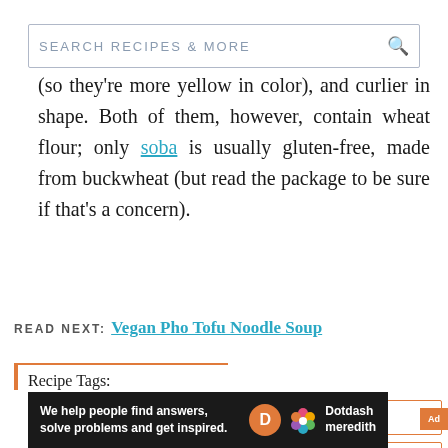SEARCH RECIPES & MORE
(so they're more yellow in color), and curlier in shape. Both of them, however, contain wheat flour; only soba is usually gluten-free, made from buckwheat (but read the package to be sure if that's a concern).
READ NEXT: Vegan Pho Tofu Noodle Soup
Recipe Tags:
Broccoli
Dinner
Japanese
Fall
[Figure (other): Dotdash Meredith advertisement banner with text: We help people find answers, solve problems and get inspired.]